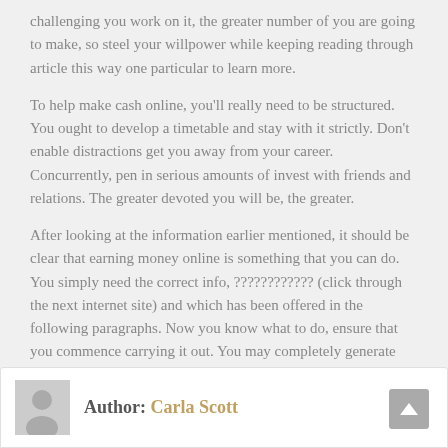challenging you work on it, the greater number of you are going to make, so steel your willpower while keeping reading through article this way one particular to learn more.
To help make cash online, you'll really need to be structured. You ought to develop a timetable and stay with it strictly. Don't enable distractions get you away from your career. Concurrently, pen in serious amounts of invest with friends and relations. The greater devoted you will be, the greater.
After looking at the information earlier mentioned, it should be clear that earning money online is something that you can do. You simply need the correct info, ???????????? (click through the next internet site) and which has been offered in the following paragraphs. Now you know what to do, ensure that you commence carrying it out. You may completely generate income online by taking motion!
Tagged Generating, Income, Online, Stuff, Understand
Author: Carla Scott